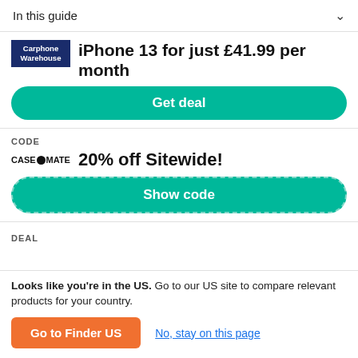In this guide
[Figure (infographic): Carphone Warehouse logo and deal: iPhone 13 for just £41.99 per month with a Get deal button]
[Figure (infographic): Case-Mate logo with CODE label and 20% off Sitewide! offer with Show code button (dashed border)]
DEAL
Looks like you're in the US. Go to our US site to compare relevant products for your country.
Go to Finder US
No, stay on this page